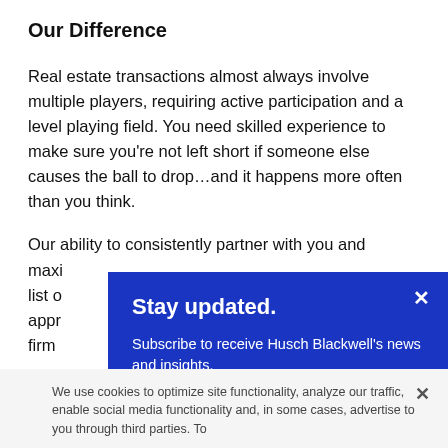Our Difference
Real estate transactions almost always involve multiple players, requiring active participation and a level playing field. You need skilled experience to make sure you’re not left short if someone else causes the ball to drop…and it happens more often than you think.
Our ability to consistently partner with you and maxi list o appr firm
[Figure (other): Blue modal popup with title 'Stay updated.' and body text 'Subscribe to receive Husch Blackwell’s news and insights.' with a white X close button.]
We use cookies to optimize site functionality, analyze our traffic, enable social media functionality and, in some cases, advertise to you through third parties. To